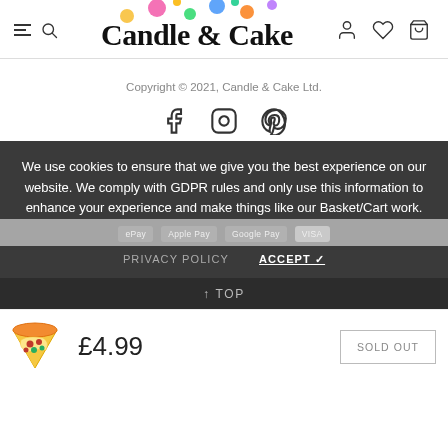Candle & Cake — navigation header with menu, search, logo, user, wishlist, cart icons
Copyright © 2021,  Candle & Cake Ltd.
[Figure (illustration): Social media icons: Facebook, Instagram, Pinterest]
We use cookies to ensure that we give you the best experience on our website. We comply with GDPR rules and only use this information to enhance your experience and make things like our Basket/Cart work.
[Figure (illustration): Payment logos row (Apple Pay, Visa, etc.)]
PRIVACY POLICY   ACCEPT ✓
↑ TOP
[Figure (illustration): Pizza slice emoji/icon product image]
£4.99
SOLD OUT